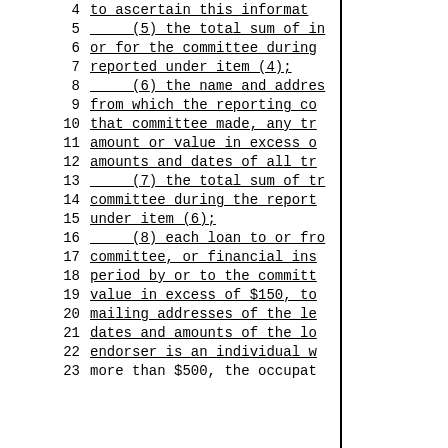4   to ascertain this information
5       (5) the total sum of in
6   or for the committee during
7   reported under item (4);
8       (6) the name and address
9   from which the reporting co
10  that committee made, any tr
11  amount or value in excess o
12  amounts and dates of all tr
13      (7) the total sum of tr
14  committee during the report
15  under item (6);
16      (8) each loan to or fro
17  committee, or financial ins
18  period by or to the committ
19  value in excess of $150, to
20  mailing addresses of the le
21  dates and amounts of the lo
22  endorser is an individual w
23  more than $500, the occupat